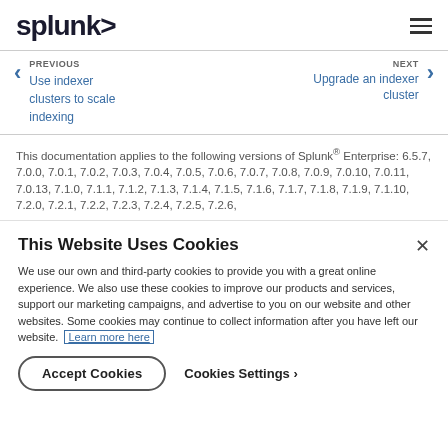splunk> [hamburger menu icon]
PREVIOUS
Use indexer clusters to scale indexing
NEXT
Upgrade an indexer cluster
This documentation applies to the following versions of Splunk® Enterprise: 6.5.7, 7.0.0, 7.0.1, 7.0.2, 7.0.3, 7.0.4, 7.0.5, 7.0.6, 7.0.7, 7.0.8, 7.0.9, 7.0.10, 7.0.11, 7.0.13, 7.1.0, 7.1.1, 7.1.2, 7.1.3, 7.1.4, 7.1.5, 7.1.6, 7.1.7, 7.1.8, 7.1.9, 7.1.10, 7.2.0, 7.2.1, 7.2.2, 7.2.3, 7.2.4, 7.2.5, 7.2.6,
This Website Uses Cookies
We use our own and third-party cookies to provide you with a great online experience. We also use these cookies to improve our products and services, support our marketing campaigns, and advertise to you on our website and other websites. Some cookies may continue to collect information after you have left our website. Learn more here
Accept Cookies    Cookies Settings ›